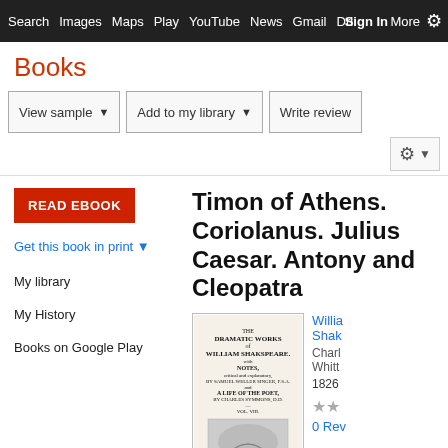Search  Images  Maps  Play  YouTube  News  Gmail  Drive  More  Sign In  ⚙
Books
View sample ▾   Add to my library ▾   Write review   ⚙ ▾
READ EBOOK
Get this book in print ▼
My library
My History
Books on Google Play
Timon of Athens. Coriolanus. Julius Caesar. Antony and Cleopatra
[Figure (photo): Book cover showing title page of 'The Dramatic Works of William Shakspeare' with notes by Samuel Weller Singer, and a life of the poet by Charles Symmons. Vol. VIII. Published 1826. Includes an engraved illustration.]
William Shakespeare
Charles Whittingham
1826
★★
0 Reviews